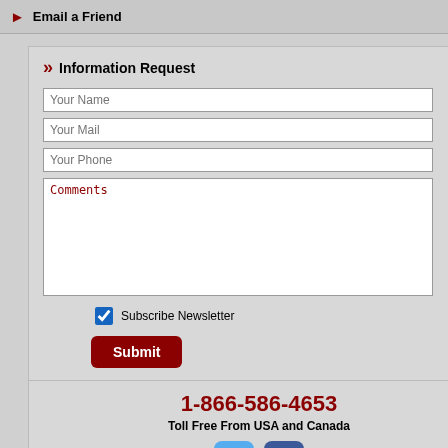Email a Friend
Information Request
Your Name
Your Mail
Your Phone
Comments
Subscribe Newsletter
Submit
1-866-586-4653
Toll Free From USA and Canada
[Figure (photo): Golf course with green fairway, sand bunkers, and sky]
Dating back ... of the oldest ... the Carnoustie ... ultimate golfi... sternest tests ...
A relatively flat course its main defences are main... across the links through out. This is comparable to... Burn at Prestwick, the Swilcan Burn at St. Andrew... George's. On the 17th hole you must deal with the... reaching the 434 yard Par 4.
Its main defence comes from the wind and as it bl... teeth. Playing over 7,300 yards and with a bunker... for the less than average shot. What most experts a... Carnoustie is that there is no tougher finish in golf... and this has been enhanced by Jean Van de Velde's...
It is a remarkably fair test and one which has been... others Ben Hogan, Gary Player & Tom Watson.
12th in The Golf World Top 100 Courses in the Br...
Details - Championship Course:
Carnoustie Map
| Field | Value |
| --- | --- |
| James Braid : Links |  |
| Founded : | 1560 |
| Par : | 72 |
| Yards : | 6941 |